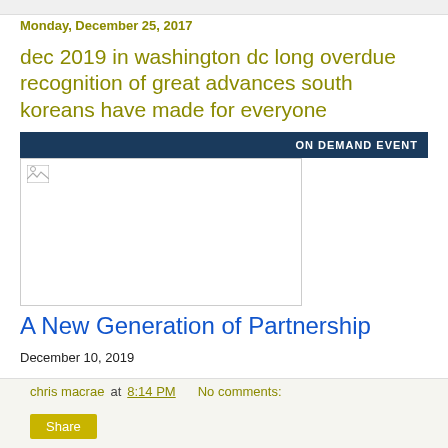Monday, December 25, 2017
dec 2019 in washington dc long overdue recognition of great advances south koreans have made for everyone
[Figure (other): Dark blue banner with 'ON DEMAND EVENT' text on the right, and a placeholder image box below it]
A New Generation of Partnership
December 10, 2019
chris macrae at 8:14 PM   No comments: